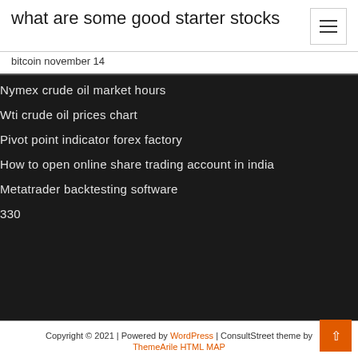what are some good starter stocks
bitcoin november 14
Nymex crude oil market hours
Wti crude oil prices chart
Pivot point indicator forex factory
How to open online share trading account in india
Metatrader backtesting software
330
Copyright © 2021 | Powered by WordPress | ConsultStreet theme by ThemeArile HTML MAP